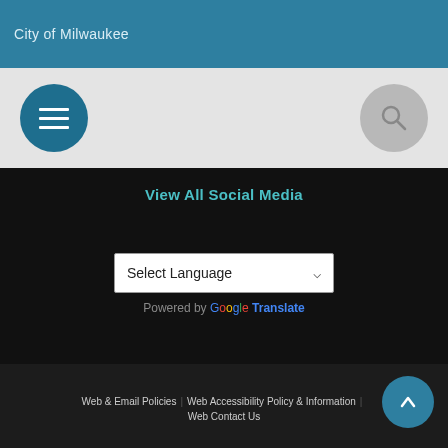City of Milwaukee
[Figure (screenshot): Navigation bar with hamburger menu button (dark teal circle with three white horizontal bars) on the left and search button (gray circle with magnifying glass icon) on the right, on a light gray background.]
View All Social Media
Select Language
Powered by Google Translate
Web & Email Policies | Web Accessibility Policy & Information | Web Contact Us
This site is powered by the Northwoods Titan Content Management